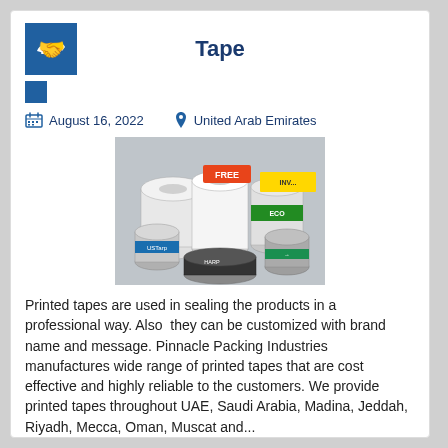Tape
August 16, 2022   United Arab Emirates
[Figure (photo): A collection of various printed and branded tape rolls stacked together, including rolls with text like FREE, USParp, HARP, and others in various colors.]
Printed tapes are used in sealing the products in a professional way. Also  they can be customized with brand name and message. Pinnacle Packing Industries manufactures wide range of printed tapes that are cost effective and highly reliable to the customers. We provide printed tapes throughout UAE, Saudi Arabia, Madina, Jeddah, Riyadh, Mecca, Oman, Muscat and...